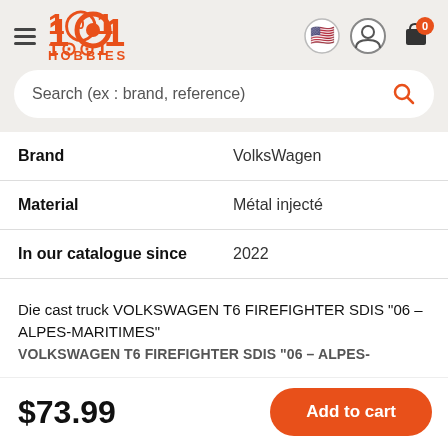1001 HOBBIES
Search (ex : brand, reference)
| Brand | VolksWagen |
| Material | Métal injecté |
| In our catalogue since | 2022 |
Die cast truck VOLKSWAGEN T6 FIREFIGHTER SDIS "06 – ALPES-MARITIMES"
VOLKSWAGEN T6 FIREFIGHTER SDIS "06 – ALPES-
$73.99
Add to cart